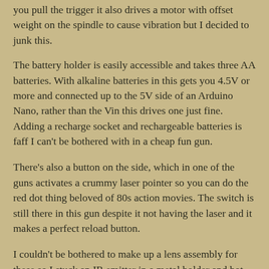you pull the trigger it also drives a motor with offset weight on the spindle to cause vibration but I decided to junk this.
The battery holder is easily accessible and takes three AA batteries. With alkaline batteries in this gets you 4.5V or more and connected up to the 5V side of an Arduino Nano, rather than the Vin this drives one just fine. Adding a recharge socket and rechargeable batteries is faff I can't be bothered with in a cheap fun gun.
There's also a button on the side, which in one of the guns activates a crummy laser pointer so you can do the red dot thing beloved of 80s action movies. The switch is still there in this gun despite it not having the laser and it makes a perfect reload button.
I couldn't be bothered to make up a lens assembly for these so I stuck an IR emitter in a metal holder and hot-glued it where the laser was supposed to emerge. I've put a plug/socket arrangement in case I decide to go back and fit a proper emitter. Unlensed the range is going to be poor, but I want them for a bit of fun in the Judge Dredd and Fallout laserdome that we're in secret. Do not an east the